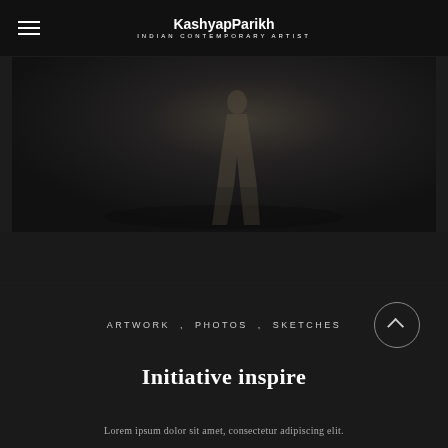KashyapParikh Indian Contemporary Artist
[Figure (photo): Dark background photo showing a faint silhouette of a person walking on a flat surface, muted dark tones]
ARTWORK , PHOTOS , SKETCHES
Initiative inspire
Lorem ipsum dolor sit amet, consectetur adipiscing elit.